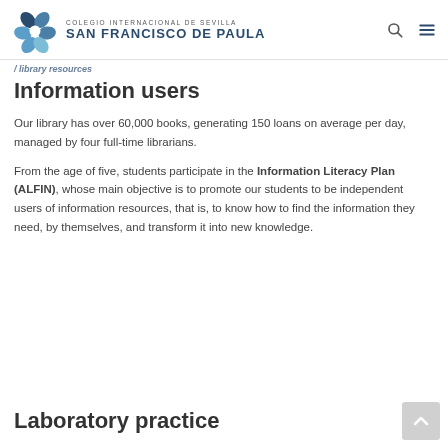COLEGIO INTERNACIONAL DE SEVILLA SAN FRANCISCO DE PAULA
Information users
Our library has over 60,000 books, generating 150 loans on average per day, managed by four full-time librarians.
From the age of five, students participate in the Information Literacy Plan (ALFIN), whose main objective is to promote our students to be independent users of information resources, that is, to know how to find the information they need, by themselves, and transform it into new knowledge.
Laboratory practice